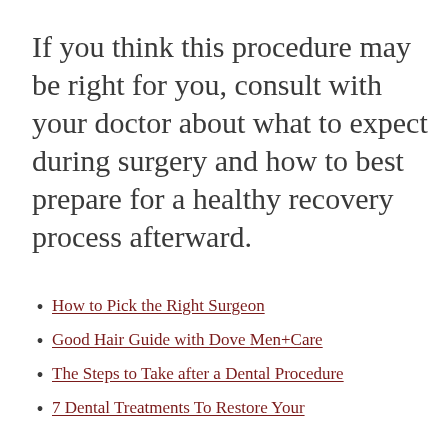If you think this procedure may be right for you, consult with your doctor about what to expect during surgery and how to best prepare for a healthy recovery process afterward.
How to Pick the Right Surgeon
Good Hair Guide with Dove Men+Care
The Steps to Take after a Dental Procedure
7 Dental Treatments To Restore Your